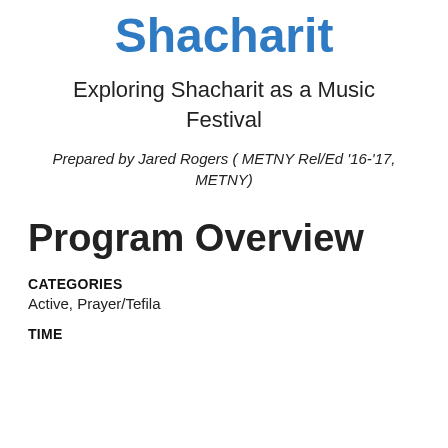Shacharit
Exploring Shacharit as a Music Festival
Prepared by Jared Rogers ( METNY Rel/Ed '16-'17, METNY)
Program Overview
CATEGORIES
Active, Prayer/Tefila
TIME